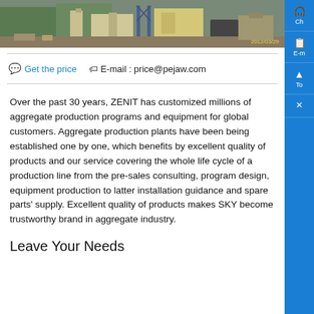[Figure (photo): Construction site photo with building structures and equipment, timestamp 2012/03/29 in yellow]
💬 Get the price   🏷E-mail : price@pejaw.com
Over the past 30 years, ZENIT has customized millions of aggregate production programs and equipment for global customers. Aggregate production plants have been being established one by one, which benefits by excellent quality of products and our service covering the whole life cycle of a production line from the pre-sales consulting, program design, equipment production to latter installation guidance and spare parts' supply. Excellent quality of products makes SKY become trustworthy brand in aggregate industry.
Leave Your Needs